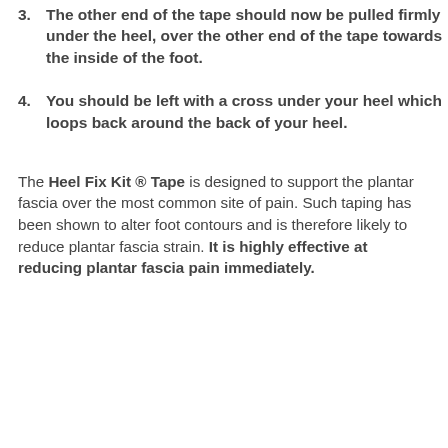3. The other end of the tape should now be pulled firmly under the heel, over the other end of the tape towards the inside of the foot.
4. You should be left with a cross under your heel which loops back around the back of your heel.
The Heel Fix Kit ® Tape is designed to support the plantar fascia over the most common site of pain. Such taping has been shown to alter foot contours and is therefore likely to reduce plantar fascia strain. It is highly effective at reducing plantar fascia pain immediately.